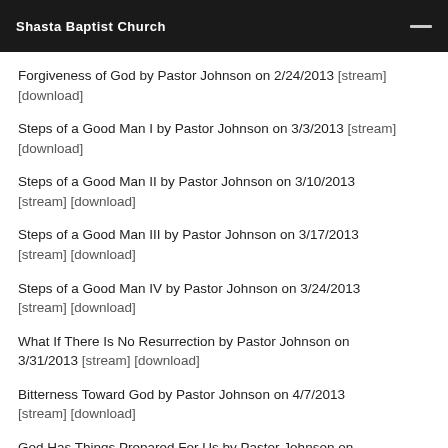Shasta Baptist Church
Forgiveness of God by Pastor Johnson on 2/24/2013 [stream] [download]
Steps of a Good Man I by Pastor Johnson on 3/3/2013 [stream] [download]
Steps of a Good Man II by Pastor Johnson on 3/10/2013 [stream] [download]
Steps of a Good Man III by Pastor Johnson on 3/17/2013 [stream] [download]
Steps of a Good Man IV by Pastor Johnson on 3/24/2013 [stream] [download]
What If There Is No Resurrection by Pastor Johnson on 3/31/2013 [stream] [download]
Bitterness Toward God by Pastor Johnson on 4/7/2013 [stream] [download]
God Has Things Prepared For Us by Pastor Johnson on